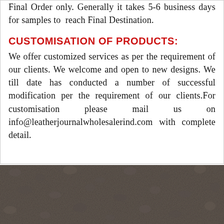Final Order only. Generally it takes 5-6 business days for samples to reach Final Destination.
CUSTOMISATION OF PRODUCTS:
We offer customized services as per the requirement of our clients. We welcome and open to new designs. We till date has conducted a number of successful modification per the requirement of our clients.For customisation please mail us on info@leatherjournalwholesalerind.com with complete detail.
[Figure (photo): Close-up photograph of dark brown/grey textured leather surface at the bottom of the page]